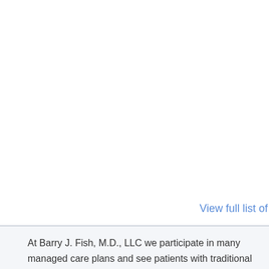[Figure (photo): Top portion of a dark teal/green ocean or forest image, cropped at top of page]
[Figure (illustration): Gray box with white text reading 'STD Testing' and 'more info' with a circle arrow icon]
View full list of
At Barry J. Fish, M.D., LLC we participate in many managed care plans and see patients with traditional insurance. See the detailed list of plans for your reference. Many plans require that you make a copayment at the time of your visit. To make it as easy as possible for you, we accept